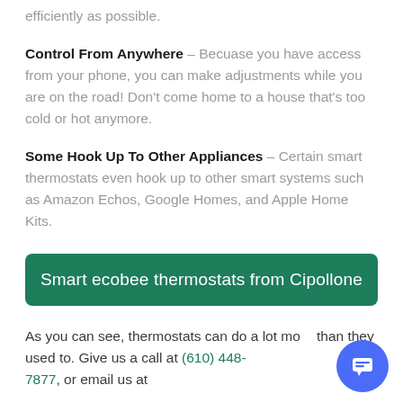efficiently as possible.
Control From Anywhere – Becuase you have access from your phone, you can make adjustments while you are on the road! Don't come home to a house that's too cold or hot anymore.
Some Hook Up To Other Appliances – Certain smart thermostats even hook up to other smart systems such as Amazon Echos, Google Homes, and Apple Home Kits.
Smart ecobee thermostats from Cipollone
As you can see, thermostats can do a lot more than they used to. Give us a call at (610) 448-7877, or email us at